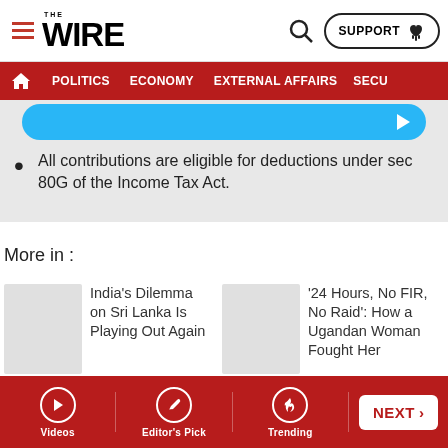THE WIRE — POLITICS | ECONOMY | EXTERNAL AFFAIRS | SECU...
All contributions are eligible for deductions under sec 80G of the Income Tax Act.
More in :
India's Dilemma on Sri Lanka Is Playing Out Again
'24 Hours, No FIR, No Raid': How a Ugandan Woman Fought Her Way Out of a Delhi Sex Racket
Videos | Editor's Pick | Trending | NEXT >